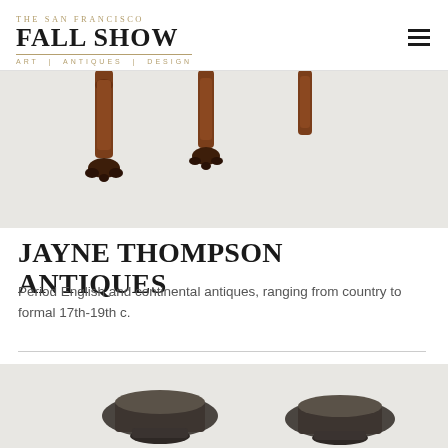THE SAN FRANCISCO FALL SHOW | ART | ANTIQUES | DESIGN
[Figure (photo): Close-up of antique furniture legs — carved wooden cabriole legs with claw-and-ball feet on a light gray background]
JAYNE THOMPSON ANTIQUES
Period English and continental antiques, ranging from country to formal 17th-19th c.
[Figure (photo): Two antique bronze or iron urns/vessels on a light gray background, partially cropped at bottom]